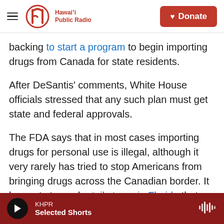Hawaii Public Radio — Donate
backing to start a program to begin importing drugs from Canada for state residents.
After DeSantis' comments, White House officials stressed that any such plan must get state and federal approvals.
The FDA says that in most cases importing drugs for personal use is illegal, although it very rarely has tried to stop Americans from bringing drugs across the Canadian border. It has not stopped retail stores in Florida that have helped consumers buy drugs from Canada since 2003. Nine storefronts
KHPR — Selected Shorts